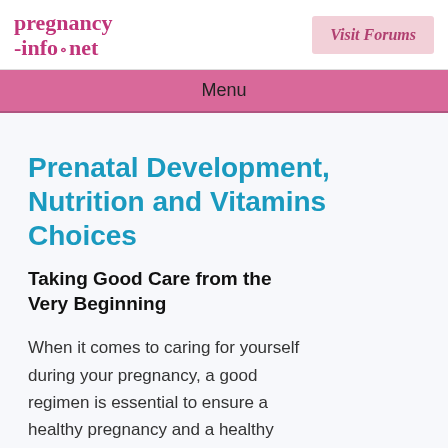pregnancy-info.net | Visit Forums
Menu
Prenatal Development, Nutrition and Vitamins Choices
Taking Good Care from the Very Beginning
When it comes to caring for yourself during your pregnancy, a good regimen is essential to ensure a healthy pregnancy and a healthy